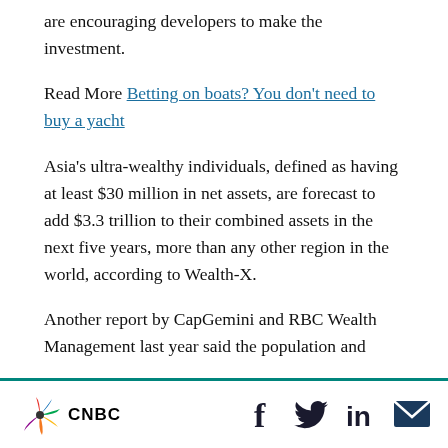are encouraging developers to make the investment.
Read More Betting on boats? You don't need to buy a yacht
Asia's ultra-wealthy individuals, defined as having at least $30 million in net assets, are forecast to add $3.3 trillion to their combined assets in the next five years, more than any other region in the world, according to Wealth-X.
Another report by CapGemini and RBC Wealth Management last year said the population and
CNBC [logo] [social icons: Facebook, Twitter, LinkedIn, Email]